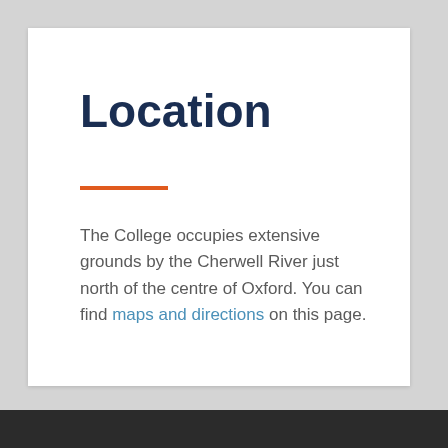Location
The College occupies extensive grounds by the Cherwell River just north of the centre of Oxford. You can find maps and directions on this page.